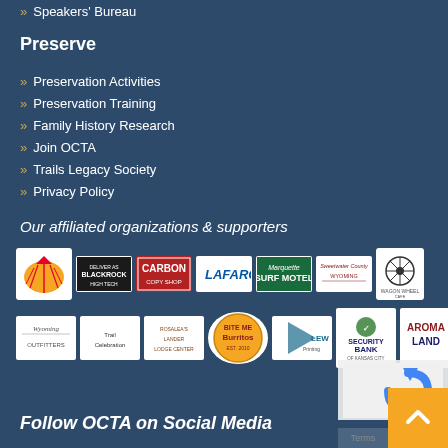» Speakers' Bureau
Preserve
» Preservation Activities
» Preservation Training
» Family History Research
» Join OCTA
» Trails Legacy Society
» Privacy Policy
Our affiliated organizations & supporters
[Figure (logo): Row of sponsor logos including Shell, BlackRock, Carbon, Lafarge, Marquette Surf Motel, Sweetwater County Wyoming, Wagon Wheel Cafe]
[Figure (logo): Row of sponsor logos including Wyoming, a travel company, Rosalea's Lander lodge, Bite Me Burritos, LEW Printing, Security Bank of Kansas City, Aromaland]
Follow OCTA on Social Media